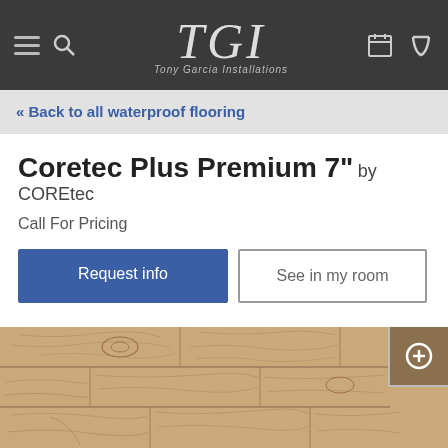TGI Tony Garcia Installations — navigation bar
« Back to all waterproof flooring
Coretec Plus Premium 7" by COREtec
Call For Pricing
Request info
See in my room
[Figure (photo): Wood plank flooring sample photo showing light brown oak wood grain texture. A small swatch thumbnail with a plus icon appears in the top right corner.]